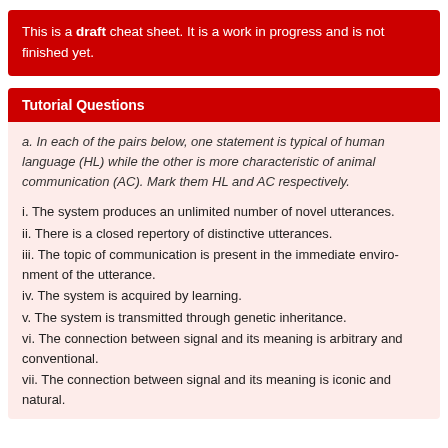This is a draft cheat sheet. It is a work in progress and is not finished yet.
Tutorial Questions
a. In each of the pairs below, one statement is typical of human language (HL) while the other is more characteristic of animal communication (AC). Mark them HL and AC respectively.
i. The system produces an unlimited number of novel utterances.
ii. There is a closed repertory of distinctive utterances.
iii. The topic of communication is present in the immediate environment of the utterance.
iv. The system is acquired by learning.
v. The system is transmitted through genetic inheritance.
vi. The connection between signal and its meaning is arbitrary and conventional.
vii. The connection between signal and its meaning is iconic and natural.